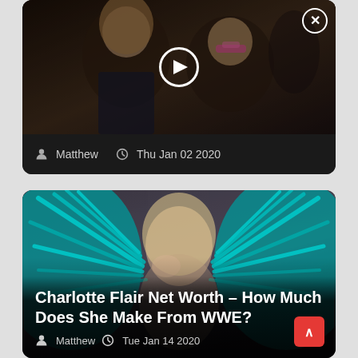[Figure (photo): Video thumbnail showing two people posing together — a woman with long brown hair and a man wearing pink-tinted glasses, with a play button overlay and a close (X) button in the top right corner.]
Matthew  Thu Jan 02 2020
[Figure (photo): Photo of a blonde woman with a large teal/blue feathered headdress, looking intensely at the camera. Overlaid text reads: Charlotte Flair Net Worth – How Much Does She Make From WWE?]
Charlotte Flair Net Worth – How Much Does She Make From WWE?
Matthew  Tue Jan 14 2020